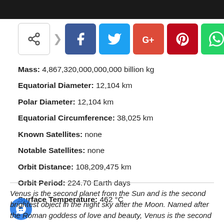[Figure (other): Dark top bar (planet image cropped at top)]
[Figure (infographic): Social share buttons: share icon, arrow, Facebook, Twitter, Google+, Pinterest, WhatsApp]
Mass: 4,867,320,000,000,000 billion kg
Equatorial Diameter: 12,104 km
Polar Diameter: 12,104 km
Equatorial Circumference: 38,025 km
Known Satellites: none
Notable Satellites: none
Orbit Distance: 108,209,475 km
Orbit Period: 224.70 Earth days
Surface Temperature: 462 °C
Venus is the second planet from the Sun and is the second brightest object in the night sky after the Moon. Named after the Roman goddess of love and beauty, Venus is the second